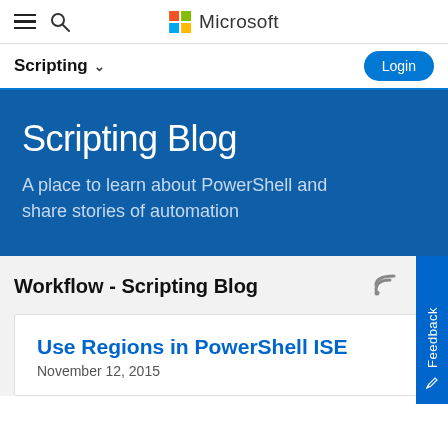Microsoft Scripting Blog - Navigation
Scripting Blog
A place to learn about PowerShell and share stories of automation
Workflow - Scripting Blog
Use Regions in PowerShell ISE
November 12, 2015